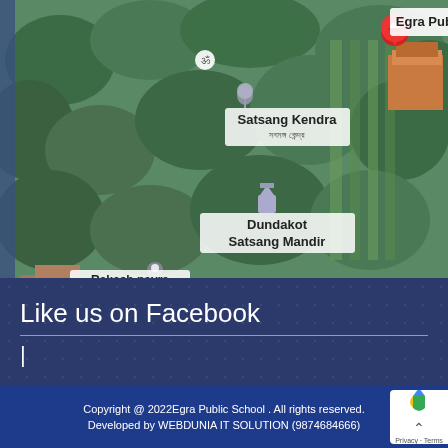[Figure (map): Aerial/satellite Google Maps view showing Egra Public School (marked with red pin), Satsang Kendra, Dundakot Satsang Mandir, and Rakesh payra location markers on a green tree-covered landscape.]
Like us on Facebook
|
Copyright @ 2022Egra Public School . All rights reserved. Developed by WEBDUNIA IT SOLUTION (9874684666)